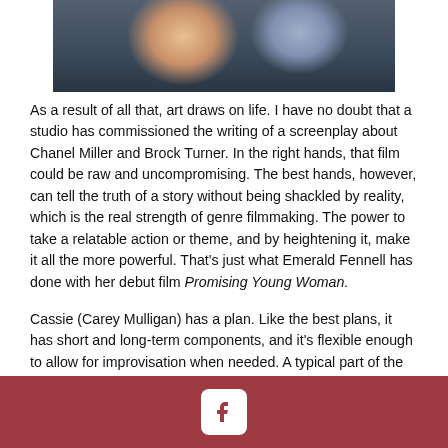[Figure (photo): Two people sitting at a table in a bar/restaurant setting. A blonde woman on the left in a floral dress and a man on the right in a grey sweater.]
As a result of all that, art draws on life. I have no doubt that a studio has commissioned the writing of a screenplay about Chanel Miller and Brock Turner. In the right hands, that film could be raw and uncompromising. The best hands, however, can tell the truth of a story without being shackled by reality, which is the real strength of genre filmmaking. The power to take a relatable action or theme, and by heightening it, make it all the more powerful. That's just what Emerald Fennell has done with her debut film Promising Young Woman.
Cassie (Carey Mulligan) has a plan. Like the best plans, it has short and long-term components, and it's flexible enough to allow for improvisation when needed. A typical part of the plan takes place in a bar, one that's loud, energetic, and young. She sits, falls over, and appears to be hammered. Sooner or later
Facebook icon